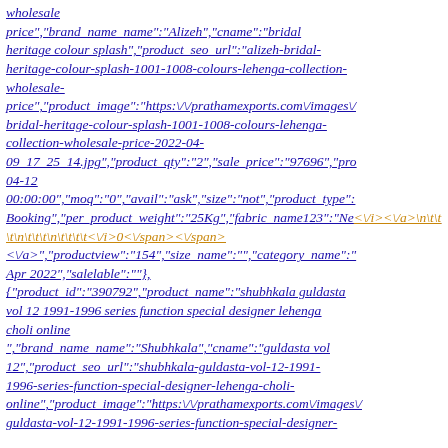wholesale price","brand_name_name":"Alizeh","cname":"bridal heritage colour splash","product_seo_url":"alizeh-bridal-heritage-colour-splash-1001-1008-colours-lehenga-collection-wholesale-price","product_image":"https:\/\/prathamexports.com\/images\/bridal-heritage-colour-splash-1001-1008-colours-lehenga-collection-wholesale-price-2022-04-09_17_25_14.jpg","product_qty":"2","sale_price":"97696","pro 04-12 00:00:00","moq":"0","avail":"ask","size":"not","product_type": Booking","per_product_weight":"25Kg","fabric_name123":"Ne <\/i><\/a>\n\t\t\t\n\t\t\t\n\t\t\t\t<\/i>0<\/span><\/span> <\/a>","productview":"154","size_name":"","category_name":" Apr 2022","salelable":""},
{"product_id":"390792","product_name":"shubhkala guldasta vol 12 1991-1996 series function special designer lehenga choli online ","brand_name_name":"Shubhkala","cname":"guldasta vol 12","product_seo_url":"shubhkala-guldasta-vol-12-1991-1996-series-function-special-designer-lehenga-choli-online","product_image":"https:\/\/prathamexports.com\/images\/guldasta-vol-12-1991-1996-series-function-special-designer-